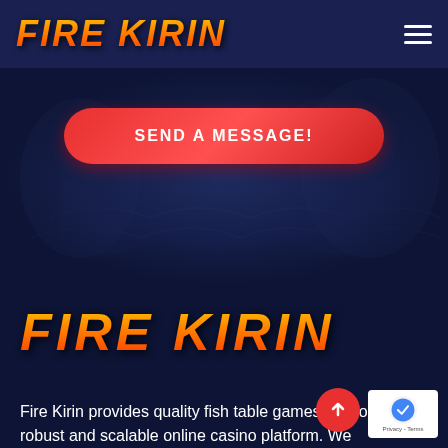FIRE KIRIN
[Figure (screenshot): Hero section with dark blue background and decorative dragon watermark silhouette]
SEND A MESSAGE!
FIRE KIRIN
Fire Kirin provides quality fish table games built on a robust and scalable online casino platform. We